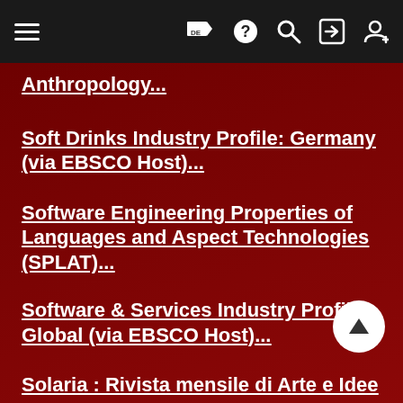Navigation bar with menu, DE flag, help, search, login, register icons
Anthropology...
Soft Drinks Industry Profile: Germany (via EBSCO Host)...
Software Engineering Properties of Languages and Aspect Technologies (SPLAT)...
Software & Services Industry Profile: Global (via EBSCO Host)...
Solaria : Rivista mensile di Arte e Idee dell'Arte...